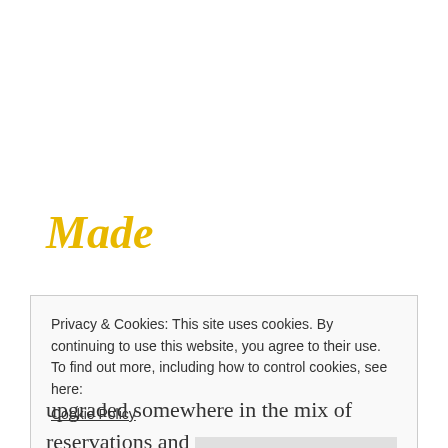Made
I am totally cheating on the “made section” as I attempted to make Salted Chocolate Brownie Cookies last week and they came out absolutely horrible. So badly made, I had to throw them away
Privacy & Cookies: This site uses cookies. By continuing to use this website, you agree to their use.
To find out more, including how to control cookies, see here:
Cookie Policy

Close and accept
upgraded somewhere in the mix of reservations and